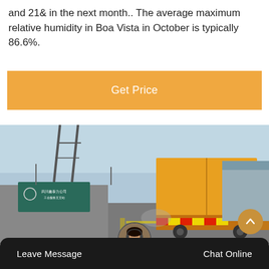and 21& in the next month.. The average maximum relative humidity in Boa Vista in October is typically 86.6%.
Get Price
[Figure (photo): Photograph of an industrial area with a yellow cargo truck on a road, a green sign with Chinese characters, metal tower structures, and warehouse buildings in the background under a blue sky.]
[Figure (photo): Customer service avatar - circular portrait of a woman wearing a headset]
Leave Message
Chat Online